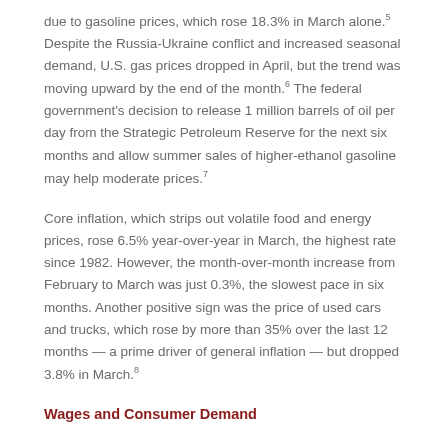due to gasoline prices, which rose 18.3% in March alone.5 Despite the Russia-Ukraine conflict and increased seasonal demand, U.S. gas prices dropped in April, but the trend was moving upward by the end of the month.6 The federal government's decision to release 1 million barrels of oil per day from the Strategic Petroleum Reserve for the next six months and allow summer sales of higher-ethanol gasoline may help moderate prices.7
Core inflation, which strips out volatile food and energy prices, rose 6.5% year-over-year in March, the highest rate since 1982. However, the month-over-month increase from February to March was just 0.3%, the slowest pace in six months. Another positive sign was the price of used cars and trucks, which rose by more than 35% over the last 12 months — a prime driver of general inflation — but dropped 3.8% in March.8
Wages and Consumer Demand